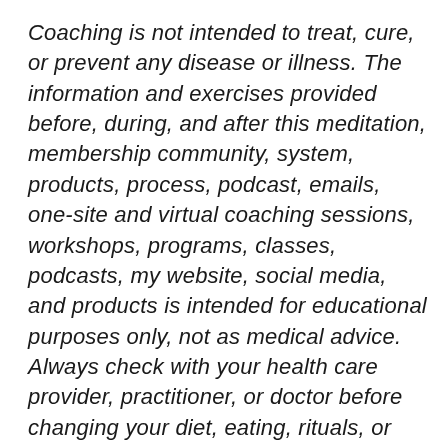Coaching is not intended to treat, cure, or prevent any disease or illness. The information and exercises provided before, during, and after this meditation, membership community, system, products, process, podcast, emails, one-site and virtual coaching sessions, workshops, programs, classes, podcasts, my website, social media, and products is intended for educational purposes only, not as medical advice. Always check with your health care provider, practitioner, or doctor before changing your diet, eating, rituals, or health/care program. Please discontinue this practice if you have unbearable pain.